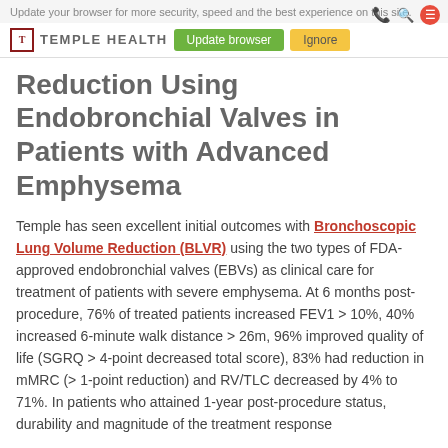Update your browser for more security, speed and the best experience on this site.
[Figure (logo): Temple Health logo with temple T icon and nav buttons (Update browser, Ignore)]
Reduction Using Endobronchial Valves in Patients with Advanced Emphysema
Temple has seen excellent initial outcomes with Bronchoscopic Lung Volume Reduction (BLVR) using the two types of FDA-approved endobronchial valves (EBVs) as clinical care for treatment of patients with severe emphysema. At 6 months post-procedure, 76% of treated patients increased FEV1 > 10%, 40% increased 6-minute walk distance > 26m, 96% improved quality of life (SGRQ > 4-point decreased total score), 83% had reduction in mMRC (> 1-point reduction) and RV/TLC decreased by 4% to 71%. In patients who attained 1-year post-procedure status, durability and magnitude of the treatment response